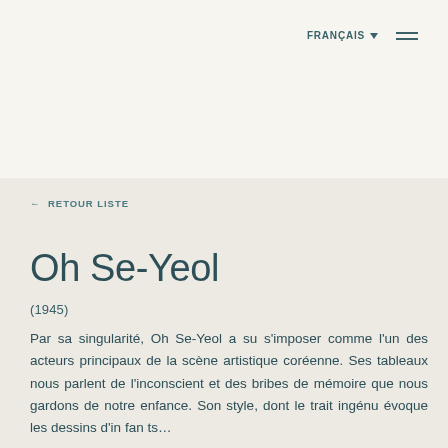FRANÇAIS ▾  ≡
← RETOUR LISTE
Oh Se-Yeol
(1945)
Par sa singularité, Oh Se-Yeol a su s'imposer comme l'un des acteurs principaux de la scène artistique coréenne. Ses tableaux nous parlent de l'inconscient et des bribes de mémoire que nous gardons de notre enfance. Son style, dont le trait ingénu évoque les dessins d'in fan ts...